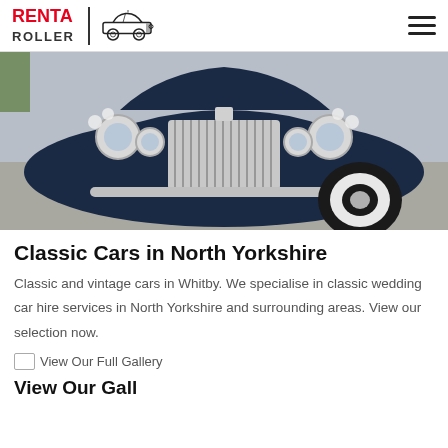RENT A ROLLER
[Figure (photo): Front view of a classic dark navy blue vintage Rolls-Royce car with chrome grille, round headlights, and white-wall tires, photographed on a driveway.]
Classic Cars in North Yorkshire
Classic and vintage cars in Whitby. We specialise in classic wedding car hire services in North Yorkshire and surrounding areas. View our selection now.
View Our Full Gallery
View Our Gall...